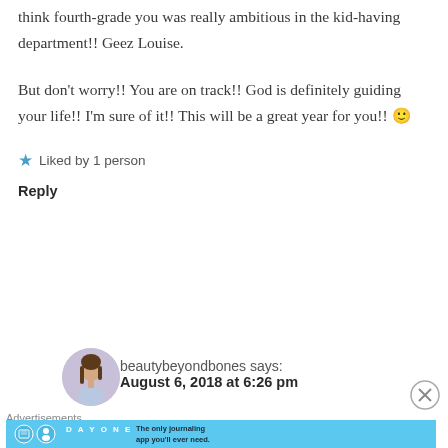think fourth-grade you was really ambitious in the kid-having department!! Geez Louise.

But don't worry!! You are on track!! God is definitely guiding your life!! I'm sure of it!! This will be a great year for you!! 🙂
Liked by 1 person
Reply
beautybeyondbones says:
August 6, 2018 at 6:26 pm
Advertisements
[Figure (infographic): Day One journaling app advertisement banner with icons and text: The only journaling app you'll ever need.]